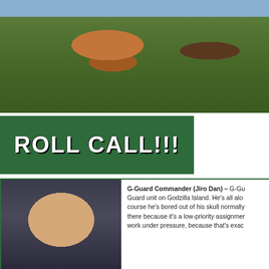[Figure (photo): Scene from Godzilla Island showing monster creatures and miniature set with green foliage]
[Figure (photo): Green background image with bold white text overlay reading ROLL CALL!!!]
[Figure (photo): Portrait photo of actor Jiro Dan as G-Guard Commander, man with dark hair and mustache in uniform]
G-Guard Commander (Jiro Dan) – G-Guard unit on Godzilla Island. He's all alone of course he's bored out of his skull normally there because it's a low-priority assignment work under pressure, because that's exac